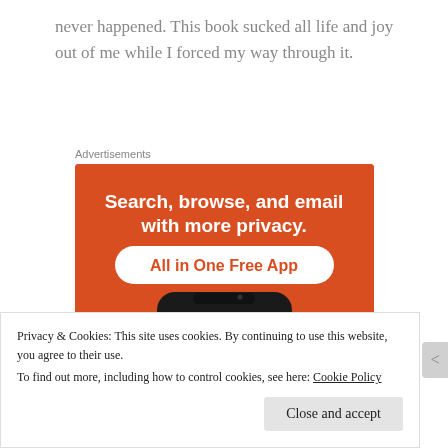never happened. This book sucked all life and joy out of me while I forced my way through it.
Advertisements
[Figure (screenshot): DuckDuckGo advertisement banner with orange background. Text reads: 'Search, browse, and email with more privacy. All in One Free App'. Shows a smartphone with the DuckDuckGo duck logo on screen.]
Privacy & Cookies: This site uses cookies. By continuing to use this website, you agree to their use.
To find out more, including how to control cookies, see here: Cookie Policy
Close and accept